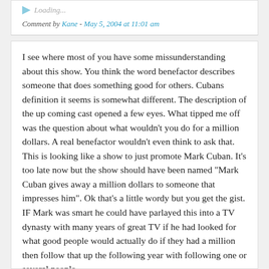Loading...
Comment by Kane - May 5, 2004 at 11:01 am
I see where most of you have some missunderstanding about this show. You think the word benefactor describes someone that does something good for others. Cubans definition it seems is somewhat different. The description of the up coming cast opened a few eyes. What tipped me off was the question about what wouldn't you do for a million dollars. A real benefactor wouldn't even think to ask that. This is looking like a show to just promote Mark Cuban. It's too late now but the show should have been named "Mark Cuban gives away a million dollars to someone that impresses him". Ok that's a little wordy but you get the gist. IF Mark was smart he could have parlayed this into a TV dynasty with many years of great TV if he had looked for what good people would actually do if they had a million then follow that up the following year with following one or several people